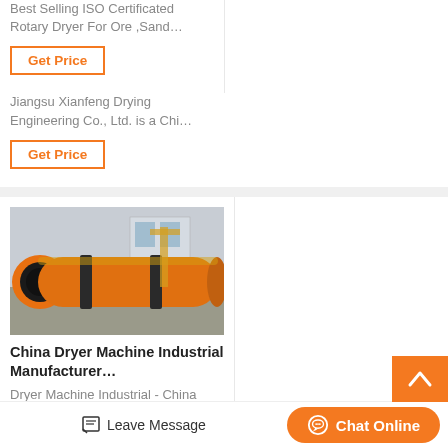Best Selling ISO Certificated Rotary Dryer For Ore ,Sand…
Jiangsu Xianfeng Drying Engineering Co., Ltd. is a Chi…
Get Price
Get Price
[Figure (photo): Industrial rotary dryer machine lying horizontally in a factory yard, orange/yellow cylinder with black gear rings]
[Figure (photo): Drum drying machine - orange rotary drum dryer outdoors under blue sky]
China Dryer Machine Industrial Manufacturer…
Drum Drying Machine - China Dryer, Rotary Dryer
Dryer Machine Industrial - China Factory, Suppliers,…
Wuxi jieer machinery Co.ltd. is lead of the drum dryer in Chin…
Get Price
Get Price
Leave Message
Chat Online